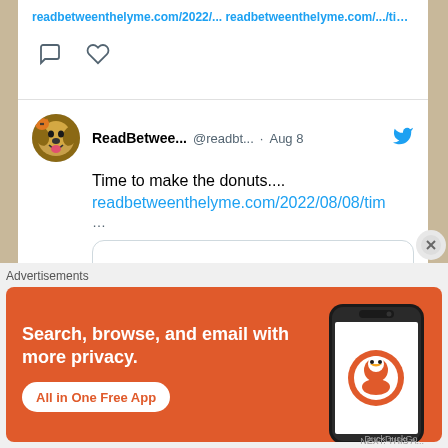readbetweenthelyme.com/2022/... (link partial)
[Figure (screenshot): Twitter/X post by ReadBetwee... @readbt... · Aug 8 with text 'Time to make the donuts....' and link readbetweenthelyme.com/2022/08/08/tim... with a link preview card below]
Advertisements
[Figure (screenshot): DuckDuckGo advertisement banner with orange background, white bold text: Search, browse, and email with more privacy. All in One Free App. Shows a phone with DuckDuckGo logo.]